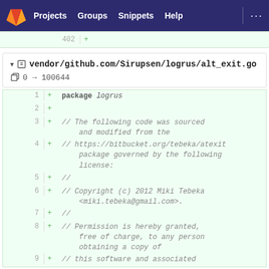Projects  Groups  Snippets  Help  ...
402  +
vendor/github.com/Sirupsen/logrus/alt_exit.go
0 → 100644
1  + package logrus
2  +
3  + // The following code was sourced and modified from the
4  + // https://bitbucket.org/tebeka/atexit package governed by the following license:
5  + //
6  + // Copyright (c) 2012 Miki Tebeka <miki.tebeka@gmail.com>.
7  + //
8  + // Permission is hereby granted, free of charge, to any person obtaining a copy of
9  + // this software and associated